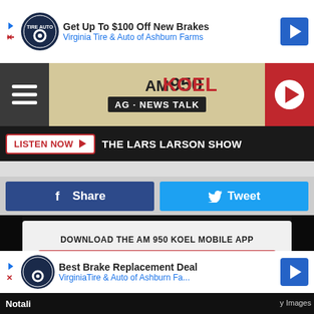[Figure (screenshot): Advertisement banner: Get Up To $100 Off New Brakes - Virginia Tire & Auto of Ashburn Farms]
[Figure (logo): AM 950 KOEL AG-NEWS TALK radio station logo with hamburger menu and play button]
LISTEN NOW ▶  THE LARS LARSON SHOW
Share  Tweet
DOWNLOAD THE AM 950 KOEL MOBILE APP
GET OUR FREE MOBILE APP
[Figure (screenshot): Advertisement banner: Best Brake Replacement Deal - VirginiaTire & Auto of Ashburn Fa...]
Notali
y Images